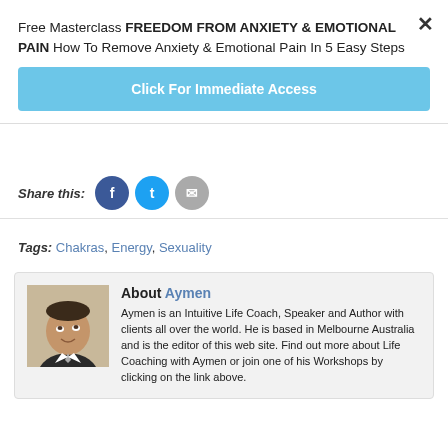Free Masterclass FREEDOM FROM ANXIETY & EMOTIONAL PAIN How To Remove Anxiety & Emotional Pain In 5 Easy Steps
Click For Immediate Access
Share this:
Tags: Chakras, Energy, Sexuality
About Aymen
Aymen is an Intuitive Life Coach, Speaker and Author with clients all over the world. He is based in Melbourne Australia and is the editor of this web site. Find out more about Life Coaching with Aymen or join one of his Workshops by clicking on the link above.